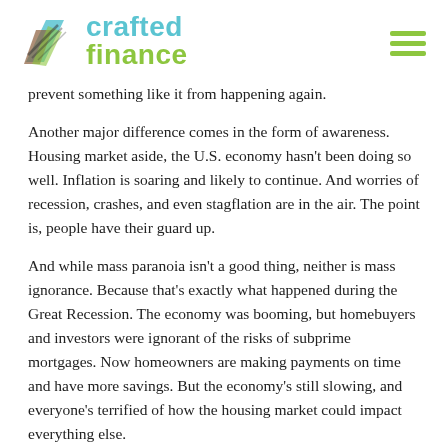crafted finance
prevent something like it from happening again.
Another major difference comes in the form of awareness. Housing market aside, the U.S. economy hasn't been doing so well. Inflation is soaring and likely to continue. And worries of recession, crashes, and even stagflation are in the air. The point is, people have their guard up.
And while mass paranoia isn't a good thing, neither is mass ignorance. Because that's exactly what happened during the Great Recession. The economy was booming, but homebuyers and investors were ignorant of the risks of subprime mortgages. Now homeowners are making payments on time and have more savings. But the economy's still slowing, and everyone's terrified of how the housing market could impact everything else.